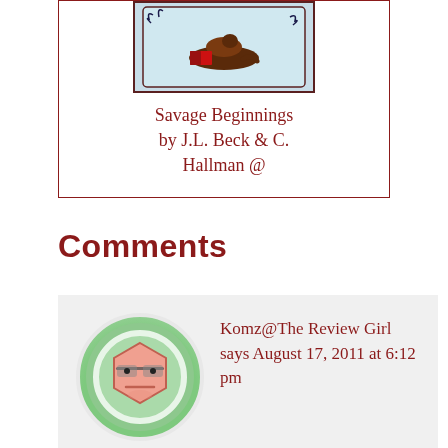[Figure (illustration): Book cover illustration showing a figure reading, with decorative border, light blue background]
Savage Beginnings by J.L. Beck & C. Hallman @
Comments
[Figure (illustration): Avatar icon of a geometric face with glasses, pink/peach hexagon face on green circular background]
Komz@The Review Girl says August 17, 2011 at 6:12 pm